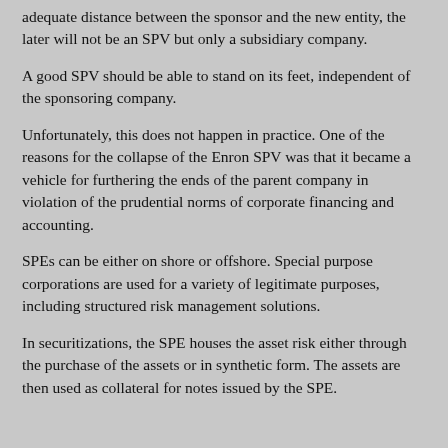adequate distance between the sponsor and the new entity, the later will not be an SPV but only a subsidiary company.
A good SPV should be able to stand on its feet, independent of the sponsoring company.
Unfortunately, this does not happen in practice. One of the reasons for the collapse of the Enron SPV was that it became a vehicle for furthering the ends of the parent company in violation of the prudential norms of corporate financing and accounting.
SPEs can be either on shore or offshore. Special purpose corporations are used for a variety of legitimate purposes, including structured risk management solutions.
In securitizations, the SPE houses the asset risk either through the purchase of the assets or in synthetic form. The assets are then used as collateral for notes issued by the SPE.